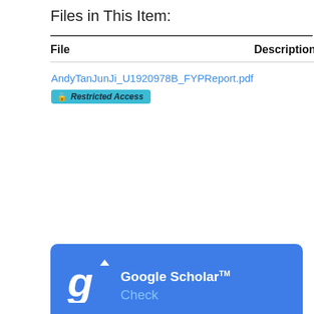Files in This Item:
| File | Description | Size |
| --- | --- | --- |
| AndyTanJunJi_U1920978B_FYPReport.pdf
Restricted Access |  | 3.5 MB |
[Figure (logo): Google Scholar TM logo card with blue background showing Google Scholar TM text and 'Check' subtext with the Google Scholar 'g' logo icon]